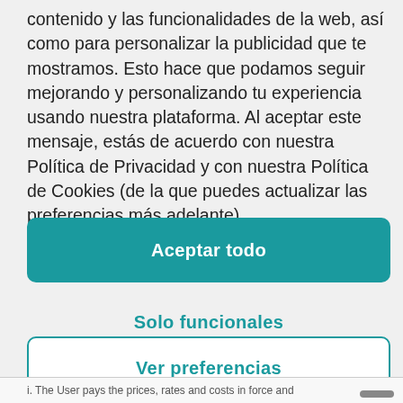contenido y las funcionalidades de la web, así como para personalizar la publicidad que te mostramos. Esto hace que podamos seguir mejorando y personalizando tu experiencia usando nuestra plataforma. Al aceptar este mensaje, estás de acuerdo con nuestra Política de Privacidad y con nuestra Política de Cookies (de la que puedes actualizar las preferencias más adelante).
Aceptar todo
Solo funcionales
Ver preferencias
i. The User pays the prices, rates and costs in force and